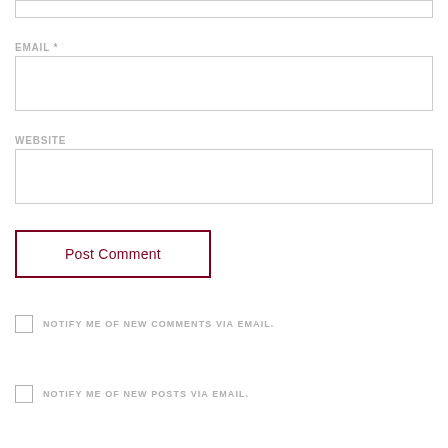EMAIL *
[Figure (other): Email input text field (empty)]
WEBSITE
[Figure (other): Website input text field (empty)]
Post Comment
NOTIFY ME OF NEW COMMENTS VIA EMAIL.
NOTIFY ME OF NEW POSTS VIA EMAIL.